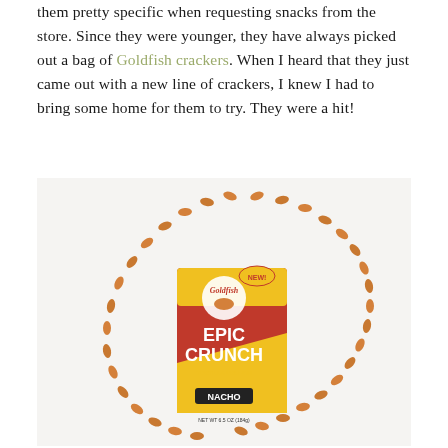them pretty specific when requesting snacks from the store. Since they were younger, they have always picked out a bag of Goldfish crackers. When I heard that they just came out with a new line of crackers, I knew I had to bring some home for them to try. They were a hit!
[Figure (photo): A box of Goldfish Epic Crunch Nacho Tortilla Crunch flavor crackers lying on a white surface, surrounded by individual goldfish-shaped crackers arranged in an arc pattern around the box.]